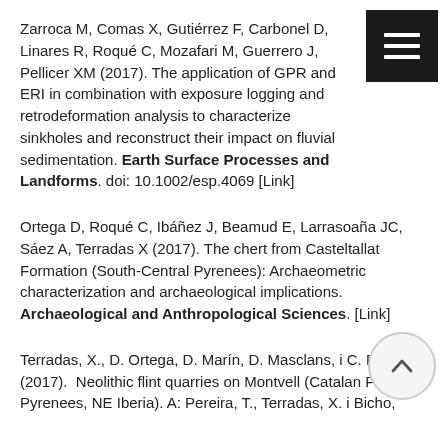Zarroca M, Comas X, Gutiérrez F, Carbonel D, Linares R, Roqué C, Mozafari M, Guerrero J, Pellicer XM (2017). The application of GPR and ERI in combination with exposure logging and retrodeformation analysis to characterize sinkholes and reconstruct their impact on fluvial sedimentation. Earth Surface Processes and Landforms. doi: 10.1002/esp.4069 [Link]
Ortega D, Roqué C, Ibáñez J, Beamud E, Larrasoaña JC, Sáez A, Terradas X (2017). The chert from Casteltallat Formation (South-Central Pyrenees): Archaeometric characterization and archaeological implications. Archaeological and Anthropological Sciences. [Link]
Terradas, X., D. Ortega, D. Marín, D. Masclans, i C. Roque (2017).  Neolithic flint quarries on Montvell (Catalan Pre-Pyrenees, NE Iberia). A: Pereira, T., Terradas, X. i Bicho,